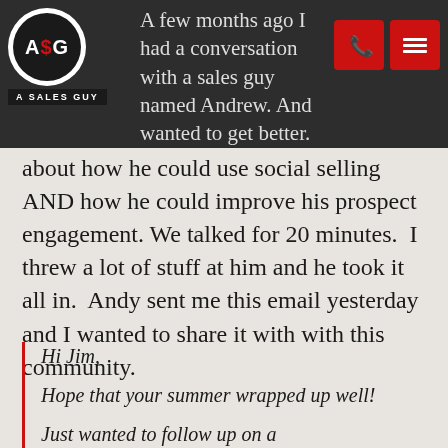A Sales Guy - A few months ago I had a conversation with a sales guy named Andrew. Andrew wanted to get better. He wanted to talk
about how he could use social selling AND how he could improve his prospect engagement. We talked for 20 minutes.  I threw a lot of stuff at him and he took it all in.  Andy sent me this email yesterday and I wanted to share it with with this community.
Hi Jim,

Hope that your summer wrapped up well!

Just wanted to follow up on a